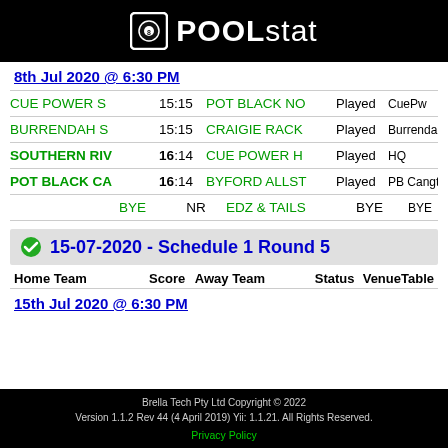POOLstat
8th Jul 2020 @ 6:30 PM
| Home Team | Score | Away Team | Status | Venue/Table |
| --- | --- | --- | --- | --- |
| CUE POWER S | 15:15 | POT BLACK NO | Played | CuePw |
| BURRENDAH S | 15:15 | CRAIGIE RACK | Played | Burrendah |
| SOUTHERN RIV | 16:14 | CUE POWER H | Played | HQ |
| POT BLACK CA | 16:14 | BYFORD ALLST | Played | PB Cangtn |
| BYE | NR | EDZ & TAILS | BYE | BYE |
15-07-2020 - Schedule 1 Round 5
| Home Team | Score | Away Team | Status | Venue/Table |
| --- | --- | --- | --- | --- |
15th Jul 2020 @ 6:30 PM
Brella Tech Pty Ltd Copyright © 2022
Version 1.1.2 Rev 44 (4 April 2019) Yii: 1.1.21. All Rights Reserved.
Privacy Policy